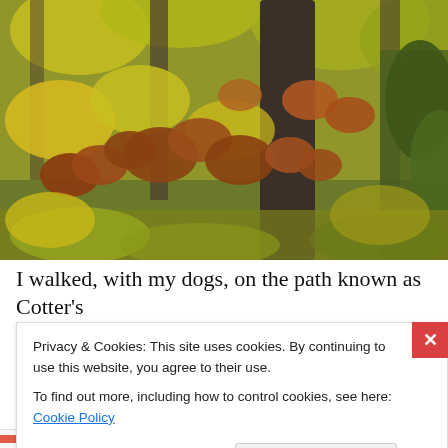[Figure (photo): Autumn forest scene with yellow and brown/rust-colored leaves on branches in front of dark tree trunks, with green foliage in background.]
I walked, with my dogs, on the path known as Cotter's Trail that leads through the part of the woods referred to
Privacy & Cookies: This site uses cookies. By continuing to use this website, you agree to their use.
To find out more, including how to control cookies, see here: Cookie Policy
Close and accept